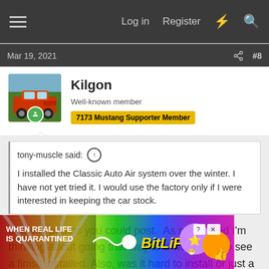Log in  Register
Mar 19, 2021  #8
Kilgon
Well-known member  7173 Mustang Supporter Member
tony-muscle said:
I installed the Classic Auto Air system over the winter. I have not yet tried it. I would use the factory only if I were interested in keeping the car stock.
Got any photos you could post.  As mentioned I'm thinking about going that way and would like to see a finish installed. Also, was it hard to install or just a pia.
[Figure (other): BitLife advertisement banner with rainbow background, text 'WHEN REAL LIFE IS QUARANTINED' and BitLife logo with emoji]